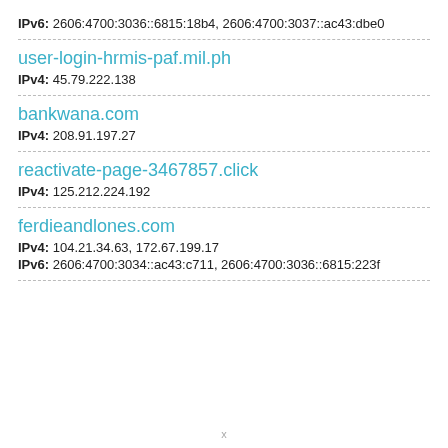IPv6: 2606:4700:3036::6815:18b4, 2606:4700:3037::ac43:dbe0
user-login-hrmis-paf.mil.ph
IPv4: 45.79.222.138
bankwana.com
IPv4: 208.91.197.27
reactivate-page-3467857.click
IPv4: 125.212.224.192
ferdieandlones.com
IPv4: 104.21.34.63, 172.67.199.17
IPv6: 2606:4700:3034::ac43:c711, 2606:4700:3036::6815:223f
x